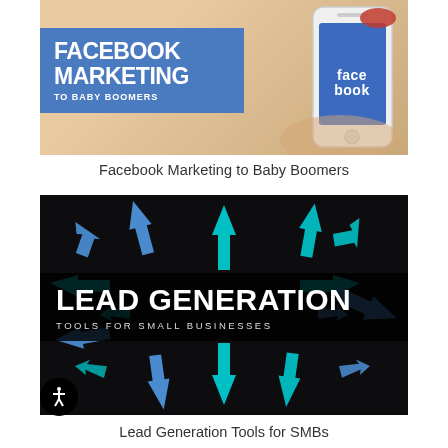[Figure (photo): Promotional image for 'Facebook Marketing to Baby Boomers' showing a woman's hands holding a white iPhone displaying the Facebook app logo, with a blue banner overlay showing the title text.]
Facebook Marketing to Baby Boomers
[Figure (photo): Promotional image for 'Lead Generation Tools for Small Businesses' showing a dark background with many cyan/teal glowing arrows pointing in various directions, with a black banner overlay showing the title text.]
Lead Generation Tools for SMBs